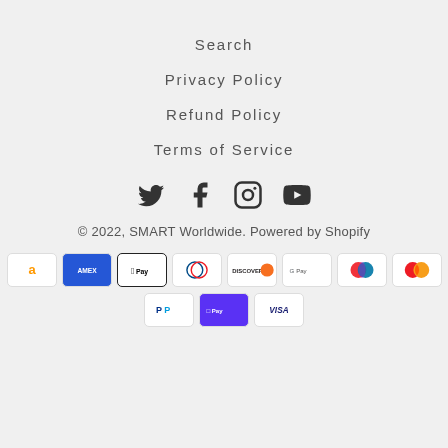Search
Privacy Policy
Refund Policy
Terms of Service
[Figure (other): Social media icons: Twitter, Facebook, Instagram, YouTube]
© 2022, SMART Worldwide. Powered by Shopify
[Figure (other): Payment method logos: Amazon, Amex, Apple Pay, Diners Club, Discover, Google Pay, Maestro, Mastercard, PayPal, Shop Pay, Visa]